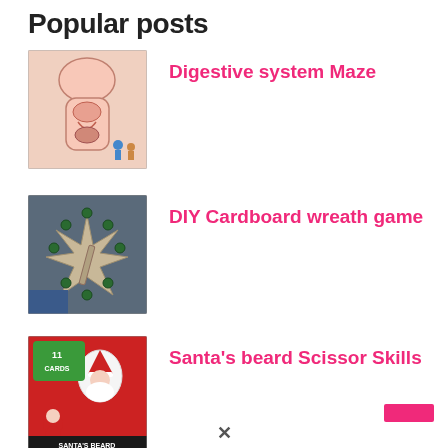Popular posts
[Figure (photo): Photo of a digestive system maze worksheet with colorful illustrations of human anatomy and small figurines on it]
Digestive system Maze
[Figure (photo): Photo of a DIY cardboard wreath game with dark green marbles arranged on triangular cardboard segments]
DIY Cardboard wreath game
[Figure (photo): Photo of Santa's beard scissor skills activity with Santa Claus cut-outs and cards labeled '11 CARDS' on a red and white background]
Santa's beard Scissor Skills